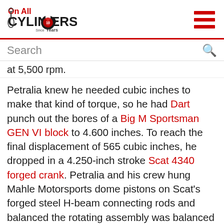On All Cylinders logo and hamburger menu
Search
at 5,500 rpm.
Petralia knew he needed cubic inches to make that kind of torque, so he had Dart punch out the bores of a Big M Sportsman GEN VI block to 4.600 inches. To reach the final displacement of 565 cubic inches, he dropped in a 4.250-inch stroke Scat 4340 forged crank. Petralia and his crew hung Mahle Motorsports dome pistons on Scat's forged steel H-beam connecting rods and balanced the rotating assembly was balanced using a Trick Flow harmonic damper up front and an SFI-approved external balance flexplate